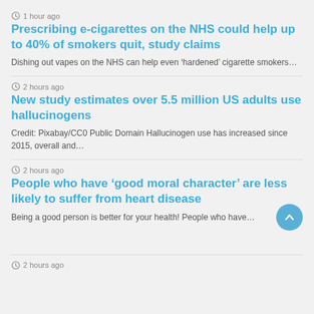1 hour ago
Prescribing e-cigarettes on the NHS could help up to 40% of smokers quit, study claims
Dishing out vapes on the NHS can help even ‘hardened’ cigarette smokers…
2 hours ago
New study estimates over 5.5 million US adults use hallucinogens
Credit: Pixabay/CC0 Public Domain Hallucinogen use has increased since 2015, overall and…
2 hours ago
People who have ‘good moral character’ are less likely to suffer from heart disease
Being a good person is better for your health! People who have…
2 hours ago